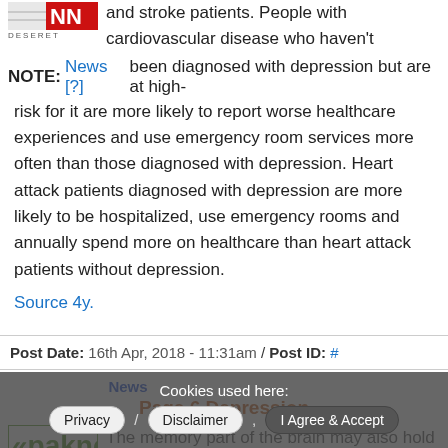[Figure (logo): Deseret News logo with red NN letters]
and stroke patients. People with cardiovascular disease who haven't been diagnosed with depression but are at high-risk for it are more likely to report worse healthcare experiences and use emergency room services more often than those diagnosed with depression. Heart attack patients diagnosed with depression are more likely to be hospitalized, use emergency rooms and annually spend more on healthcare than heart attack patients without depression.
NOTE: News [?]
Source 4y.
Post Date: 16th Apr, 2018 - 11:31am / Post ID: #
News
Page 6 Depression
[Figure (logo): Paknews logo with Arabic text overlay]
The memory part of the brain may also hold clues for anxiety and depression. New research finds that
Cookies used here: Privacy / Disclaimer / I Agree & Accept